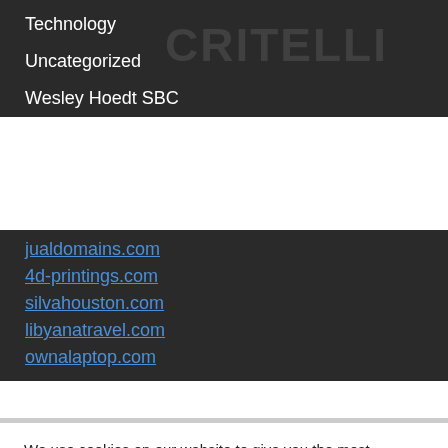Technology
Uncategorized
Wesley Hoedt SBC
jualdomains.com
4d-printings.com
silvahouston.com
libyanatravel.com
ownalaptop.com
We use cookies on our website to give you the most relevant experience by remembering your preferences and repeat visits. By clicking “Accept All”, you consent to the use of ALL the cookies. However, you may visit "Cookie Settings" to provide a controlled consent.
Cookie Settings
Accept All